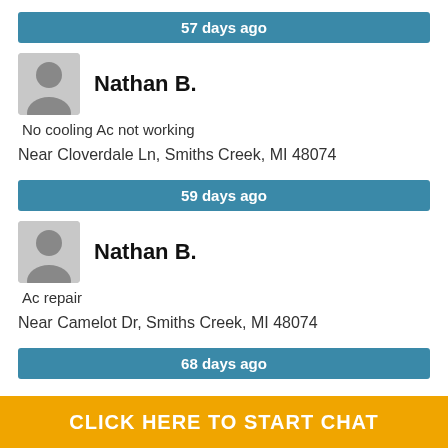57 days ago
Nathan B.
No cooling Ac not working
Near Cloverdale Ln, Smiths Creek, MI 48074
59 days ago
Nathan B.
Ac repair
Near Camelot Dr, Smiths Creek, MI 48074
68 days ago
CLICK HERE TO START CHAT